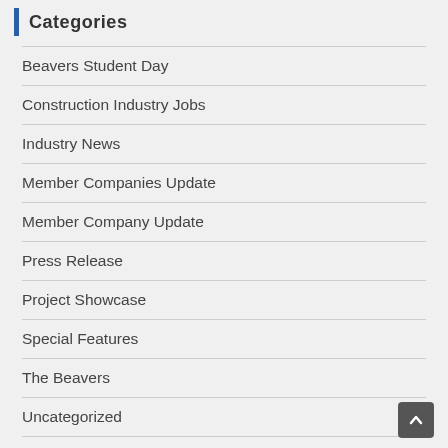Categories
Beavers Student Day
Construction Industry Jobs
Industry News
Member Companies Update
Member Company Update
Press Release
Project Showcase
Special Features
The Beavers
Uncategorized
Women in Construction